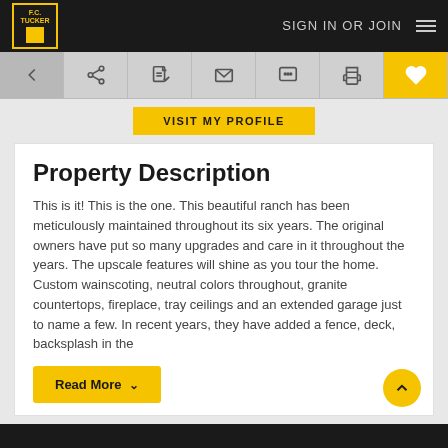F.C. Tucker — SIGN IN OR JOIN
[Figure (screenshot): Toolbar with navigation icons: back arrow, share, edit, email, chat, print, and heart/favorite (highlighted in yellow)]
[Figure (screenshot): VISIT MY PROFILE yellow button]
Property Description
This is it! This is the one. This beautiful ranch has been meticulously maintained throughout its six years. The original owners have put so many upgrades and care in it throughout the years. The upscale features will shine as you tour the home. Custom wainscoting, neutral colors throughout, granite countertops, fireplace, tray ceilings and an extended garage just to name a few. In recent years, they have added a fence, deck, backsplash in the
[Figure (screenshot): Read More button with dropdown chevron]